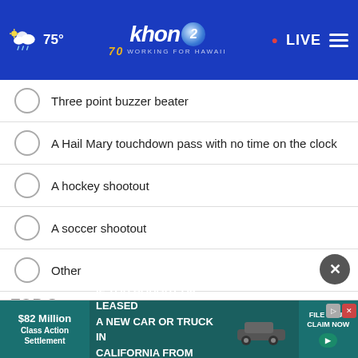[Figure (screenshot): KHON2 news website header with logo, weather showing 75°, LIVE button, and hamburger menu on blue background]
Three point buzzer beater
A Hail Mary touchdown pass with no time on the clock
A hockey shootout
A soccer shootout
Other
No opinion / Does not apply
NEXT *
* By clicking "NEXT" you agree to the following: We use cookies to track your survey answers. If you would like to continue with this survey, please read and agree to the CivicScience Privacy Policy and Terms of Service
[Figure (other): Advertisement banner: $82 Million Class Action Settlement - IF YOU BOUGHT OR LEASED A NEW CAR OR TRUCK IN CALIFORNIA FROM 2001 - 2003. FILE YOUR CLAIM NOW button.]